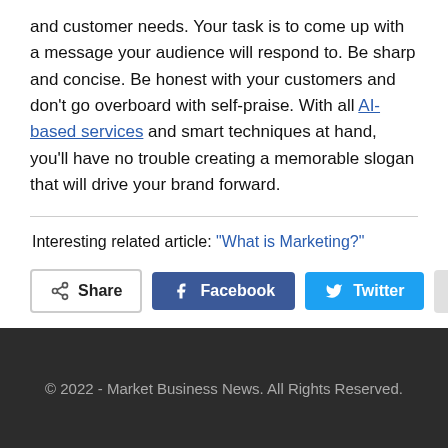and customer needs. Your task is to come up with a message your audience will respond to. Be sharp and concise. Be honest with your customers and don't go overboard with self-praise. With all AI-based services and smart techniques at hand, you'll have no trouble creating a memorable slogan that will drive your brand forward.
Interesting related article: “What is Marketing?”
Share  Facebook  Twitter  +
© 2022 - Market Business News. All Rights Reserved.